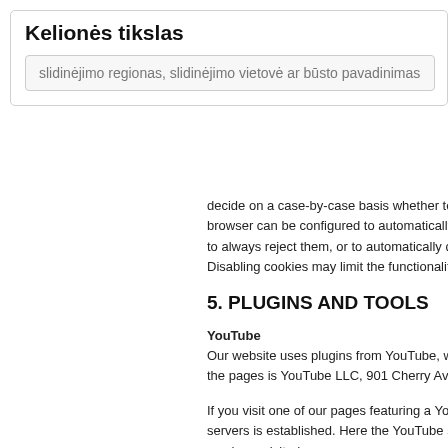Kelionės tikslas
slidinėjimo regionas, slidinėjimo vietovė ar būsto pavadinimas
decide on a case-by-case basis whether to accept browser can be configured to automatically accept to always reject them, or to automatically delete c Disabling cookies may limit the functionality of this
5. PLUGINS AND TOOLS
YouTube
Our website uses plugins from YouTube, which is the pages is YouTube LLC, 901 Cherry Ave., San
If you visit one of our pages featuring a YouTube p servers is established. Here the YouTube server i you have visited.
If you're logged in to your YouTube account, YouT browsing behavior directly with your personal prof out of your YouTube account.
YouTube is used to help make our website appea interest pursuant to Art. 6 (1) (f) DSGVO.
Further information about handling user data can